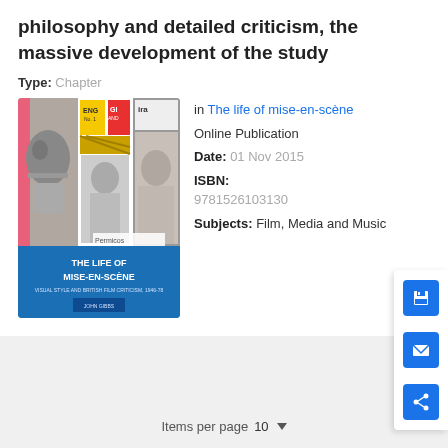philosophy and detailed criticism, the massive development of the study
Type: Chapter
[Figure (illustration): Book cover of 'The Life of Mise-en-Scène: Visual Style and British Film Criticism, 1946-78' by John Gibbs, published by Manchester University Press. The cover features a collage of film stills and magazine covers in black-and-white and color on a blue background.]
in The life of mise-en-scène
Online Publication Date: 01 Nov 2015
ISBN: 9781526103130
Subjects: Film, Media and Music
Items per page 10